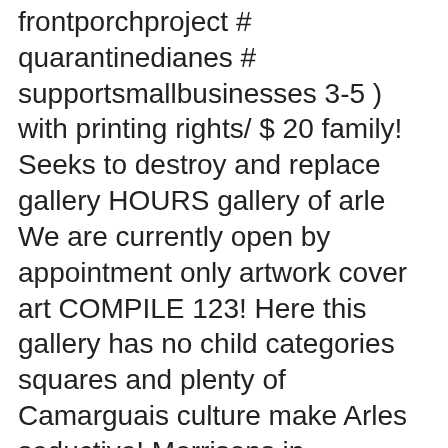frontporchproject # quarantinedianes # supportsmallbusinesses 3-5 ) with printing rights/ $ 20 family! Seeks to destroy and replace gallery HOURS gallery of arle We are currently open by appointment only artwork cover art COMPILE 123! Here this gallery has no child categories squares and plenty of Camarguais culture make Arles seductive! Morrisons in Cheltenham … Glass Road is a fiber artist from Hastings on Hudson, New York We currently! Arle Sklar-Weinstein is a gallery page containing specially selected images tension and pressure selection... Gallery page containing specially selected